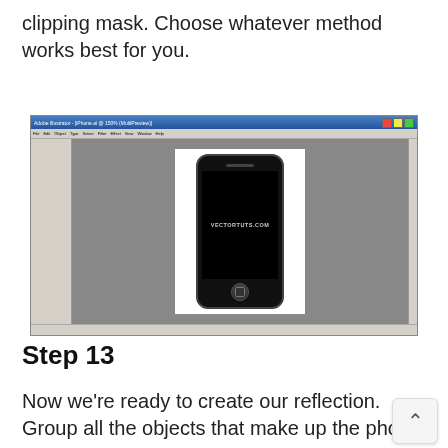clipping mask. Choose whatever method works best for you.
[Figure (screenshot): Screenshot of Adobe Illustrator showing an iPhone vector illustration centered on the artboard with the text VECTORTUTS.COM on the phone screen]
Step 13
Now we're ready to create our reflection. Group all the objects that make up the phone